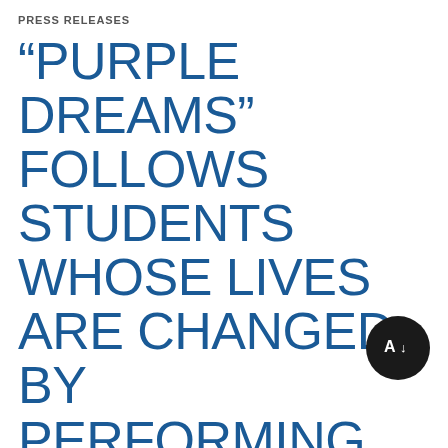PRESS RELEASES
“PURPLE DREAMS” FOLLOWS STUDENTS WHOSE LIVES ARE CHANGED BY PERFORMING IN ‘THE COLOR PURPLE’”
05 MARCH 2018 | 2 MIN READ
Bailey Hall Film Series screens the documentary on March 15
Davie, Fla. (March 5, 2018) – “This is